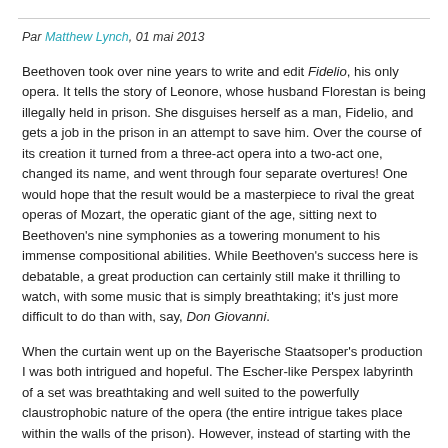Par Matthew Lynch, 01 mai 2013
Beethoven took over nine years to write and edit Fidelio, his only opera. It tells the story of Leonore, whose husband Florestan is being illegally held in prison. She disguises herself as a man, Fidelio, and gets a job in the prison in an attempt to save him. Over the course of its creation it turned from a three-act opera into a two-act one, changed its name, and went through four separate overtures! One would hope that the result would be a masterpiece to rival the great operas of Mozart, the operatic giant of the age, sitting next to Beethoven's nine symphonies as a towering monument to his immense compositional abilities. While Beethoven's success here is debatable, a great production can certainly still make it thrilling to watch, with some music that is simply breathtaking; it's just more difficult to do than with, say, Don Giovanni.
When the curtain went up on the Bayerische Staatsoper's production I was both intrigued and hopeful. The Escher-like Perspex labyrinth of a set was breathtaking and well suited to the powerfully claustrophobic nature of the opera (the entire intrigue takes place within the walls of the prison). However, instead of starting with the